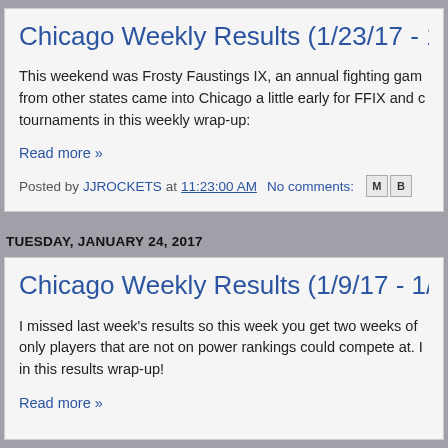Chicago Weekly Results (1/23/17 - 1/29/...
This weekend was Frosty Faustings IX, an annual fighting gam... from other states came into Chicago a little early for FFIX and c... tournaments in this weekly wrap-up:
Read more »
Posted by JJROCKETS at 11:23:00 AM   No comments:
TUESDAY, JANUARY 24, 2017
Chicago Weekly Results (1/9/17 - 1/22/...
I missed last week's results so this week you get two weeks of... only players that are not on power rankings could compete at. I... in this results wrap-up!
Read more »